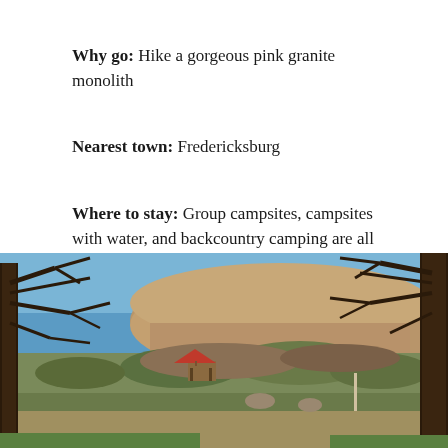Why go: Hike a gorgeous pink granite monolith
Nearest town: Fredericksburg
Where to stay: Group campsites, campsites with water, and backcountry camping are all available.
[Figure (photo): Outdoor landscape photo showing bare winter trees in the foreground framing a view of a rocky granite hill/monolith in the background, with a red-roofed gazebo structure visible in the middle ground among brush and sparse vegetation, under a blue sky. A campground path is visible in the lower portion.]